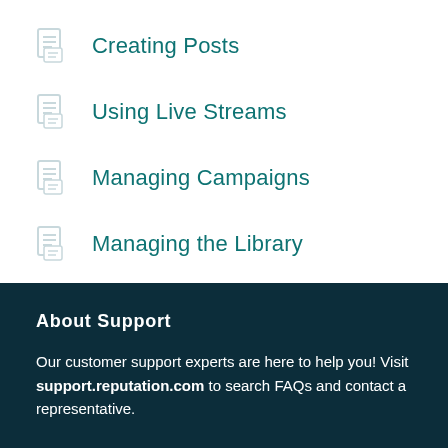Creating Posts
Using Live Streams
Managing Campaigns
Managing the Library
About Support
Our customer support experts are here to help you! Visit support.reputation.com to search FAQs and contact a representative.